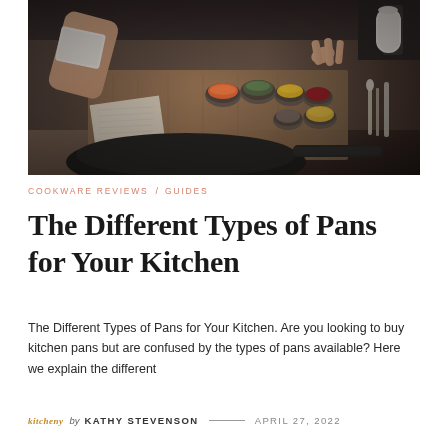[Figure (photo): Overhead view of a kitchen counter with a dark frying pan in the foreground, small bowls with various ingredients (carrots, herbs, corn, butter, spices) on a wooden board, and hands working with ingredients in the background.]
COOKWARE REVIEWS / GUIDES
The Different Types of Pans for Your Kitchen
The Different Types of Pans for Your Kitchen. Are you looking to buy kitchen pans but are confused by the types of pans available? Here we explain the different
by KATHY STEVENSON — APRIL 27, 2022